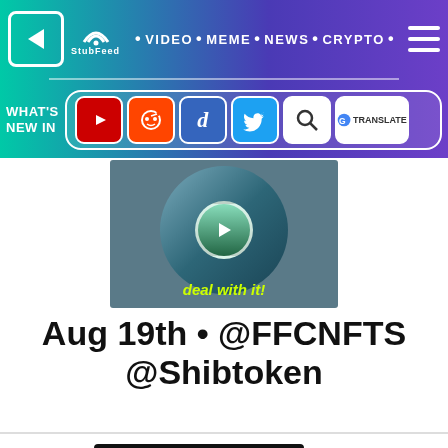StubFeed • VIDEO • MEME • NEWS • CRYPTO
WHAT'S NEW IN [YouTube] [Reddit] [Digg] [Twitter] [Search] [G Translate]
[Figure (screenshot): Video thumbnail showing a magnifying glass lens with 'deal with it!' text overlay in yellow-green]
Aug 19th • @FFCNFTS @Shibtoken
[Figure (screenshot): Twitter bird icon on left; video thumbnail with circular play button on black background on right]